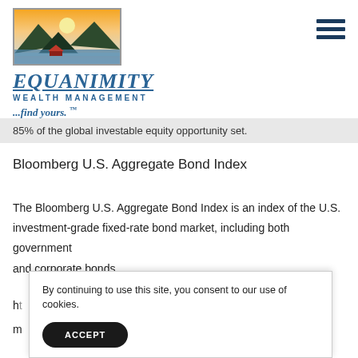[Figure (logo): Equanimity Wealth Management logo with mountain landscape painting and company name]
85% of the global investable equity opportunity set.
Bloomberg U.S. Aggregate Bond Index
The Bloomberg U.S. Aggregate Bond Index is an index of the U.S. investment-grade fixed-rate bond market, including both government and corporate bonds.
By continuing to use this site, you consent to our use of cookies.